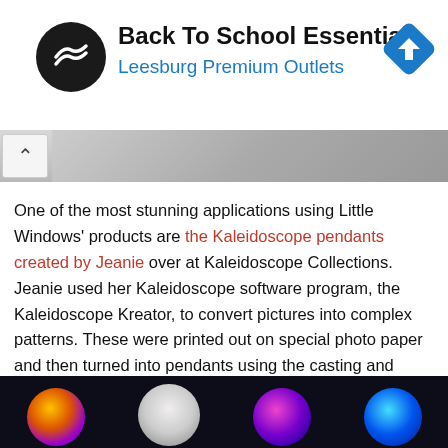[Figure (screenshot): Advertisement banner for Back To School Essentials at Leesburg Premium Outlets with navigation logo and direction arrow icon]
[Figure (photo): Partial image at top of page showing a light-colored surface, partially obscured, with a back-navigation chevron on the left side]
One of the most stunning applications using Little Windows' products are the Kaleidoscope pendants created by Jeanie over at Kaleidoscope Collections. Jeanie used her Kaleidoscope software program, the Kaleidoscope Kreator, to convert pictures into complex patterns. These were printed out on special photo paper and then turned into pendants using the casting and doming techniques.
[Figure (photo): Bottom portion of image showing colorful kaleidoscope pendant necklaces on a dark background, including purple/orange, white filigree, blue/purple, and blue variants hanging from silver chains]